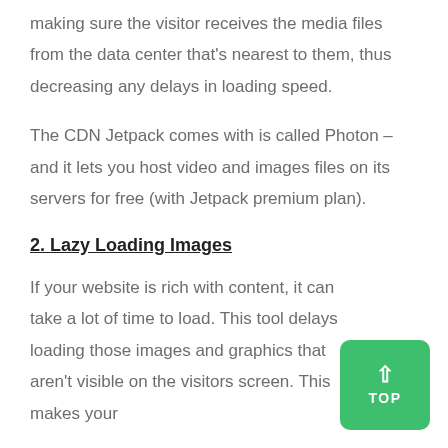making sure the visitor receives the media files from the data center that's nearest to them, thus decreasing any delays in loading speed.
The CDN Jetpack comes with is called Photon – and it lets you host video and images files on its servers for free (with Jetpack premium plan).
2. Lazy Loading Images
If your website is rich with content, it can take a lot of time to load. This tool delays loading those images and graphics that aren't visible on the visitors screen. This makes your